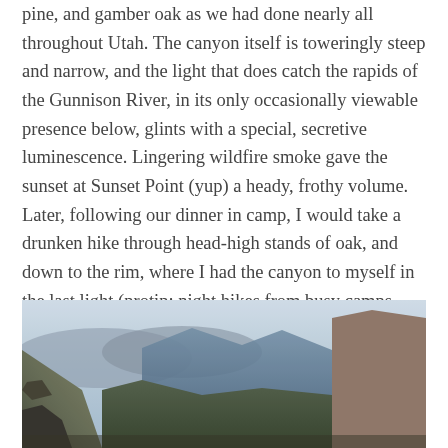pine, and gamber oak as we had done nearly all throughout Utah. The canyon itself is toweringly steep and narrow, and the light that does catch the rapids of the Gunnison River, in its only occasionally viewable presence below, glints with a special, secretive luminescence. Lingering wildfire smoke gave the sunset at Sunset Point (yup) a heady, frothy volume. Later, following our dinner in camp, I would take a drunken hike through head-high stands of oak, and down to the rim, where I had the canyon to myself in the last light (protip: night hikes from busy camps almost always pay off in main-feature solitude (see: the amphitheater trail in Signal Mountain campground in the Grand Tetons)).
[Figure (photo): A photograph of a deep canyon landscape, showing steep canyon walls with layered rock formations, mountains in the background under a hazy sky, likely the Black Canyon of the Gunnison or similar Colorado canyon.]